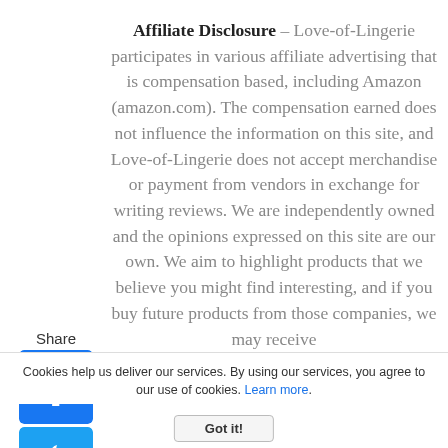Affiliate Disclosure – Love-of-Lingerie participates in various affiliate advertising that is compensation based, including Amazon (amazon.com). The compensation earned does not influence the information on this site, and Love-of-Lingerie does not accept merchandise or payment from vendors in exchange for writing reviews. We are independently owned and the opinions expressed on this site are our own. We aim to highlight products that we believe you might find interesting, and if you buy future products from those companies, we may receive
[Figure (other): Share section with Facebook, Twitter, and Pinterest social media icons, and a back arrow below]
Cookies help us deliver our services. By using our services, you agree to our use of cookies. Learn more.
Got it!